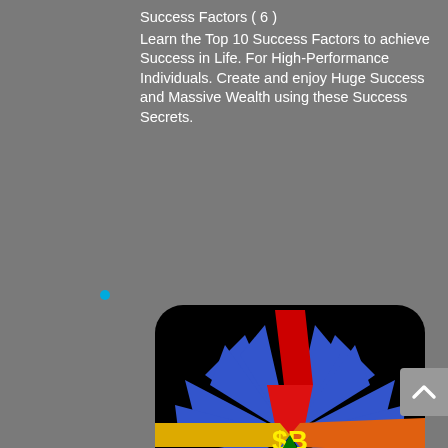Success Factors ( 6 )
Learn the Top 10 Success Factors to achieve Success in Life. For High-Performance Individuals. Create and enjoy Huge Success and Massive Wealth using these Success Secrets.
•
[Figure (illustration): App icon showing a colorful pinwheel/starburst design on a black background with rounded corners. Blue petals arranged in a circle, with a red shape at the top, yellow/gold and orange horizontal bars in the middle displaying '$B' in yellow text, and a green triangle with teal elements at the bottom. A small recursive version of the image appears at the bottom center.]